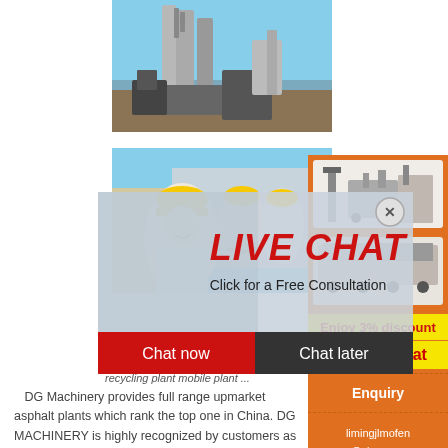[Figure (photo): Industrial machinery at a plant site with silos and metal structures against a blue sky]
[Figure (photo): Construction workers in yellow hard hats smiling, blue sky background]
[Figure (infographic): Live chat popup overlay with red LIVE CHAT heading, subtitle 'Click for a Free Consultation', red Chat now button and dark Chat later button]
recycling plant mobile plant ...
DG Machinery provides full range upmarket asphalt plants which rank the top one in China. DG MACHINERY is highly recognized by customers as the leading manufacturer in asphalt mixing plant ind... for series of standard, recycling, contain... module, mobile, monoblock recycling and environment-friendly products with capacity
[Figure (photo): Right sidebar orange panel with machinery images, Enjoy 3% discount in yellow, Click to Chat button, Enquiry link, and limingjlmofen@sina.com email]